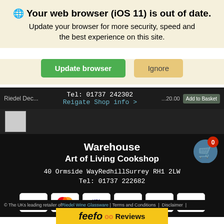🌐 Your web browser (iOS 11) is out of date. Update your browser for more security, speed and the best experience on this site.
[Figure (screenshot): Two buttons: green 'Update browser' and tan 'Ignore']
Riedel Dec...  Tel: 01737 242302  Reigate Shop info >  ...20.00  Add to Basket
[Figure (screenshot): Small product thumbnail image placeholder]
Warehouse
Art of Living Cookshop
[Figure (infographic): Shopping cart icon with red badge showing '0']
40 Ormside WayRedhillSurrey RH1 2LW
Tel: 01737 222682
Warehouse info >
[Figure (infographic): Payment method logos: VISA, Mastercard, Visa Electron/Maestro, Apple Pay, PayPal, Amazon]
© The UKs leading retailer of Riedel Wine Glassware | Terms and Conditions | Disclaimer |
[Figure (logo): Feefo Reviews logo bar in yellow]